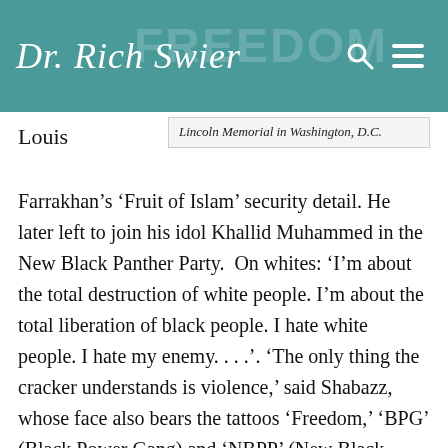Dr. Rich Swier
Lincoln Memorial in Washington, D.C.
Louis Farrakhan’s ‘Fruit of Islam’ security detail. He later left to join his idol Khallid Muhammed in the New Black Panther Party.  On whites: ‘I’m about the total destruction of white people. I’m about the total liberation of black people. I hate white people. I hate my enemy. . . .’. ‘The only thing the cracker understands is violence,’ said Shabazz, whose face also bears the tattoos ‘Freedom,’ ‘BPG’ (Black Power Gang) and ‘NBPP’ (New Black Panther Party). ‘The only thing the cracker understands is gunpowder.’”